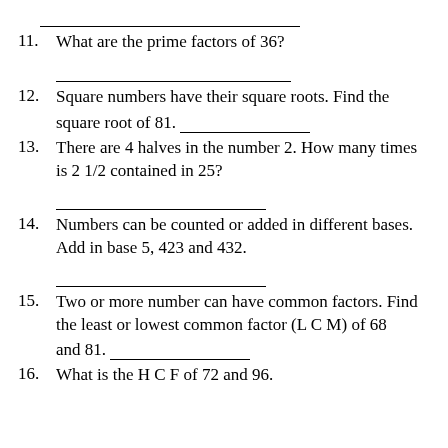11. What are the prime factors of 36?
12. Square numbers have their square roots. Find the square root of 81.
13. There are 4 halves in the number 2. How many times is 2 1/2 contained in 25?
14. Numbers can be counted or added in different bases. Add in base 5, 423 and 432.
15. Two or more number can have common factors. Find the least or lowest common factor (L C M) of 68 and 81.
16. What is the H C F of 72 and 96.